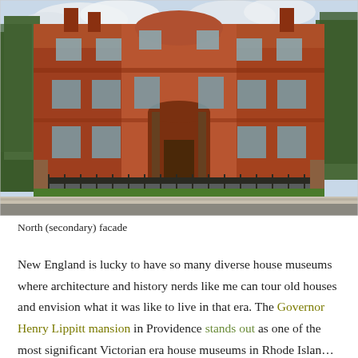[Figure (photo): Photograph of the North (secondary) facade of the Governor Henry Lippitt mansion in Providence. A large three-story red brick Victorian Italianate mansion with arched central entrance portico, decorative ironwork fence along the front, trees on both sides, and a paved street in the foreground.]
North (secondary) facade
New England is lucky to have so many diverse house museums where architecture and history nerds like me can tour old houses and envision what it was like to live in that era. The Governor Henry Lippitt mansion in Providence stands out as one of the most significant Victorian era house museums in Rhode Island…